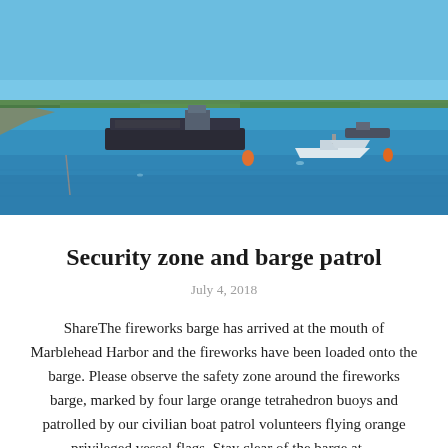[Figure (photo): Aerial or elevated view of Marblehead Harbor with blue water, a large dark barge loaded with equipment in the center, smaller white boats, an orange buoy visible, and a tree-lined shoreline in the background under a clear blue sky.]
Security zone and barge patrol
July 4, 2018
ShareThe fireworks barge has arrived at the mouth of Marblehead Harbor and the fireworks have been loaded onto the barge. Please observe the safety zone around the fireworks barge, marked by four large orange tetrahedron buoys and patrolled by our civilian boat patrol volunteers flying orange privileged vessel flags. Stay clear of the barge at…